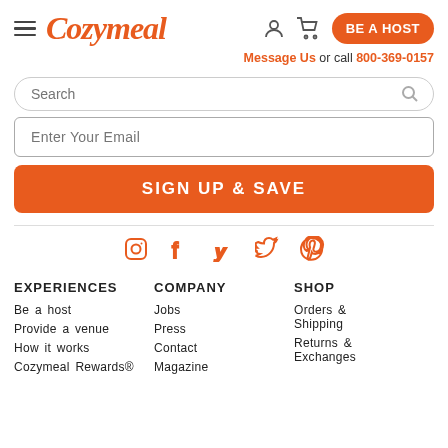Cozymeal — BE A HOST | Message Us or call 800-369-0157
Search
Enter Your Email
SIGN UP & SAVE
[Figure (infographic): Social media icons: Instagram, Facebook, Yelp, Twitter, Pinterest in orange]
EXPERIENCES — Be a host, Provide a venue, How it works, Cozymeal Rewards®
COMPANY — Jobs, Press, Contact, Magazine
SHOP — Orders & Shipping, Returns & Exchanges